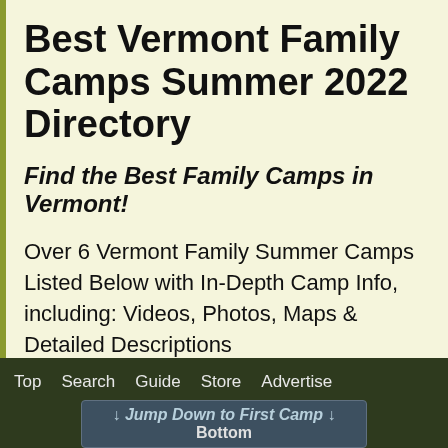Best Vermont Family Camps Summer 2022 Directory
Find the Best Family Camps in Vermont!
Over 6 Vermont Family Summer Camps Listed Below with In-Depth Camp Info, including: Videos, Photos, Maps & Detailed Descriptions
Top  Search  Guide  Store  Advertise
↓ Jump Down to First Camp ↓
Bottom